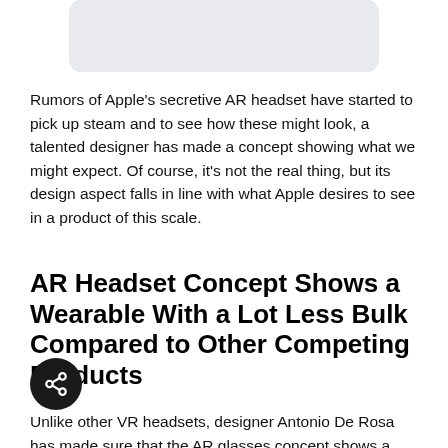[Figure (other): Rounded rectangle image placeholder with light gray background at top of page]
Rumors of Apple's secretive AR headset have started to pick up steam and to see how these might look, a talented designer has made a concept showing what we might expect. Of course, it's not the real thing, but its design aspect falls in line with what Apple desires to see in a product of this scale.
AR Headset Concept Shows a Wearable With a Lot Less Bulk Compared to Other Competing Products
Unlike other VR headsets, designer Antonio De Rosa has made sure that the AR glasses concept shows a